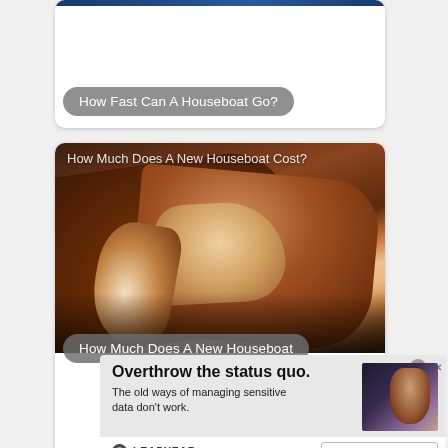[Figure (screenshot): Card showing a dark blue banner image at top with text label pill 'How Fast Can A Houseboat Go?' on gray rounded pill]
How Fast Can A Houseboat Go?
[Figure (photo): Photo of hands holding open an empty brown leather wallet, with overlay title 'How Much Does A New Houseboat Cost?' and label pill 'How Much Does A New Houseboat']
How Much Does A New Houseboat Cost?
How Much Does A New Houseboat
[Figure (screenshot): Advertisement overlay from Leapyear: 'Overthrow the status quo. The old ways of managing sensitive data don't work.' with GET THE HANDBOOK button and image of person with digital overlay]
No compatible source was found for this media.